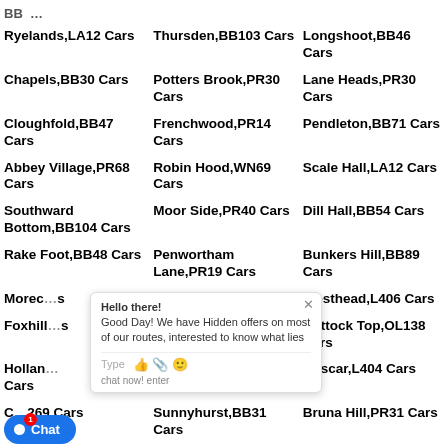Ryelands,LA12 Cars | Thursden,BB103 Cars | Longshoot,BB46 Cars
Chapels,BB30 Cars | Potters Brook,PR30 Cars | Lane Heads,PR30 Cars
Cloughfold,BB47 Cars | Frenchwood,PR14 Cars | Pendleton,BB71 Cars
Abbey Village,PR68 Cars | Robin Hood,WN69 Cars | Scale Hall,LA12 Cars
Southward Bottom,BB104 Cars | Moor Side,PR40 Cars | Dill Hall,BB54 Cars
Rake Foot,BB48 Cars | Penwortham Lane,PR19 Cars | Bunkers Hill,BB89 Cars
Morec... Cars | Hawkshaw,BB30 Cars | Westhead,L406 Cars
Foxhill... Cars | Cliviger,BB104 Cars | Huttock Top,OL138 Cars
Hollan... Cars | Higherford,BB96 Cars | Hoscar,L404 Cars
C...269 Cars | Sunnyhurst,BB31 Cars | Bruna Hill,PR31 Cars
Osbaldeston,BB27...